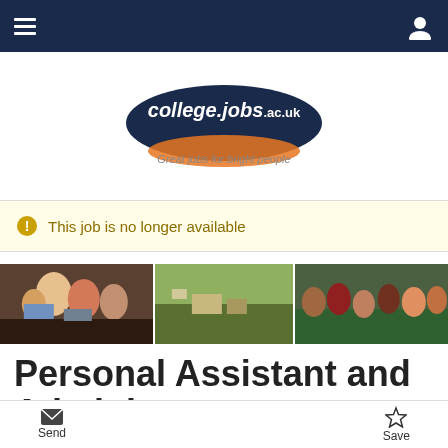Navigation bar with hamburger menu and user icon
[Figure (logo): college.jobs.ac.uk logo — oval shape with dark navy background, italic text 'college.jobs.ac.uk' in white, with orange border accent. Tagline: 'Great jobs for bright people']
This job is no longer available
[Figure (photo): Banner with three photos: students studying at computers (left), aerial view of college campus in countryside (center), group of smiling young students outdoors (right)]
Personal Assistant and Administrator
Send  Save